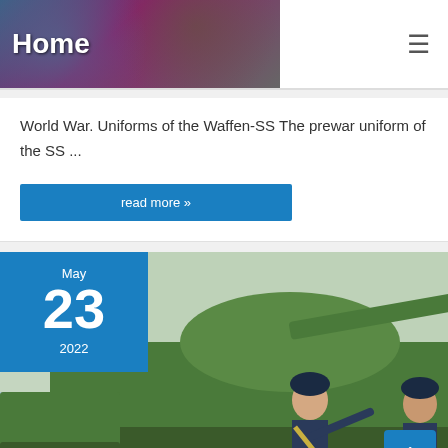Home
World War. Uniforms of the Waffen-SS The prewar uniform of the SS ...
read more »
[Figure (photo): Three Soviet tank crew members in dark blue uniforms and padded helmets standing in front of a green T-34 tank, one pointing. Date badge: May 23, 2022.]
May 23 2022